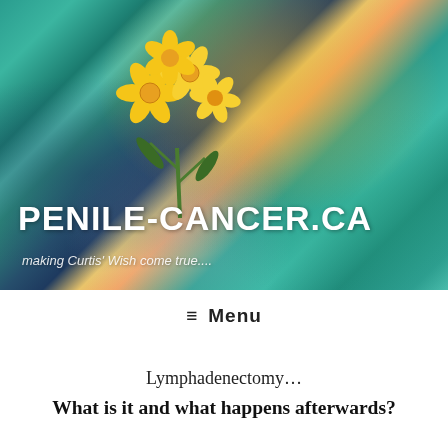[Figure (photo): Abstract painted background in teal, green, blue, yellow and white tones with a bouquet of yellow daffodil flowers overlaid on the left side. This serves as the website header banner image.]
PENILE-CANCER.CA
making Curtis' Wish come true....
≡ Menu
Lymphadenectomy…
What is it and what happens afterwards?